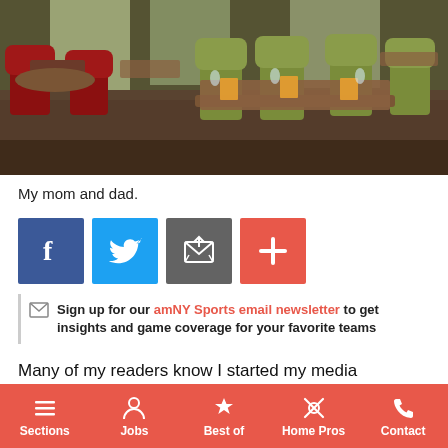[Figure (photo): Restaurant dining room interior with red and green chairs around tables set with glasses and napkins]
My mom and dad.
[Figure (infographic): Social sharing buttons: Facebook (blue), Twitter (blue), Email (grey), Plus/More (orange-red)]
Sign up for our amNY Sports email newsletter to get insights and game coverage for your favorite teams
Many of my readers know I started my media company with one newspaper in my living room, four children, a dream and a prayer. This week, we launched amNewYork METRO, a
Sections  Jobs  Best of  Home Pros  Contact